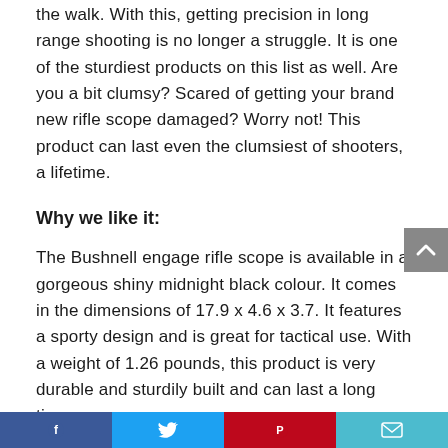the walk. With this, getting precision in long range shooting is no longer a struggle. It is one of the sturdiest products on this list as well. Are you a bit clumsy? Scared of getting your brand new rifle scope damaged? Worry not! This product can last even the clumsiest of shooters, a lifetime.
Why we like it:
The Bushnell engage rifle scope is available in a gorgeous shiny midnight black colour. It comes in the dimensions of 17.9 x 4.6 x 3.7. It features a sporty design and is great for tactical use. With a weight of 1.26 pounds, this product is very durable and sturdily built and can last a long time.